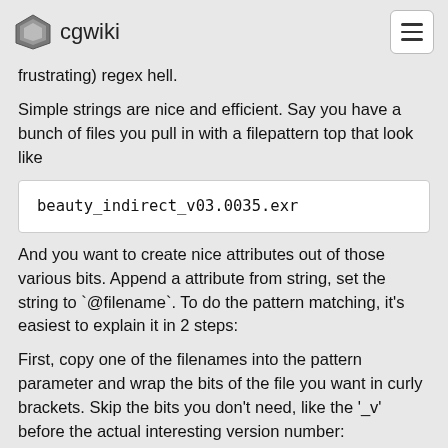cgwiki
frustrating) regex hell.
Simple strings are nice and efficient. Say you have a bunch of files you pull in with a filepattern top that look like
beauty_indirect_v03.0035.exr
And you want to create nice attributes out of those various bits. Append a attribute from string, set the string to `@filename`. To do the pattern matching, it's easiest to explain it in 2 steps:
First, copy one of the filenames into the pattern parameter and wrap the bits of the file you want in curly brackets. Skip the bits you don't need, like the '_v' before the actual interesting version number:
{beauty}_{indirect}_v{03}_{0035}.{exr}